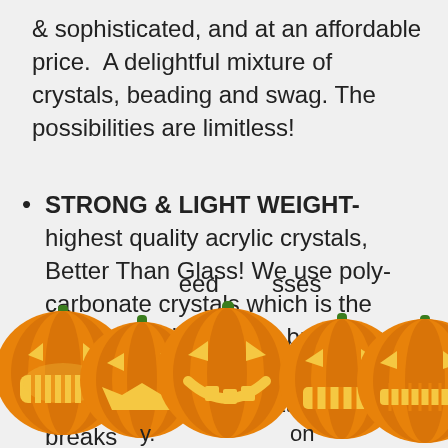& sophisticated, and at an affordable price.  A delightful mixture of crystals, beading and swag. The possibilities are limitless!
STRONG & LIGHT WEIGHT- highest quality acrylic crystals, Better Than Glass! We use poly-carbonate crystals which is the same material used in bullet proof windows and eye lenses, very light and strong. Glass scratches & breaks [need glasses]...
[Figure (illustration): Five jack-o-lantern pumpkins with glowing carved faces in a row across the bottom of the page, partially cut off at the bottom.]